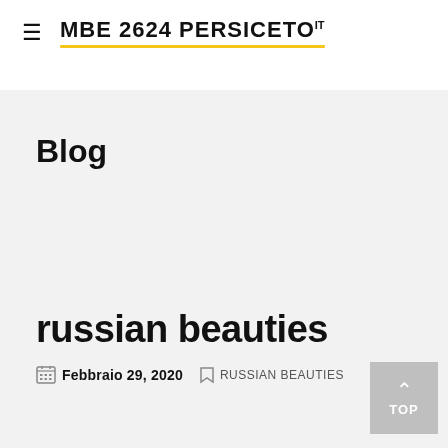≡ MBE 2624 PERSICETO IT
Blog
russian beauties
Febbraio 29, 2020   RUSSIAN BEAUTIES